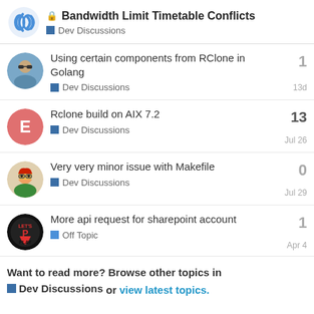Bandwidth Limit Timetable Conflicts — Dev Discussions
Using certain components from RClone in Golang — Dev Discussions — 1 reply — 13d
Rclone build on AIX 7.2 — Dev Discussions — 13 replies — Jul 26
Very very minor issue with Makefile — Dev Discussions — 0 replies — Jul 29
More api request for sharepoint account — Off Topic — 1 reply — Apr 4
Want to read more? Browse other topics in Dev Discussions or view latest topics.